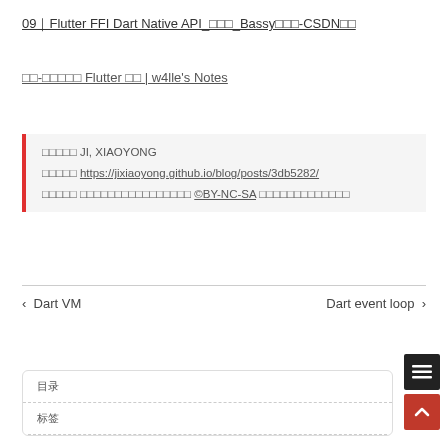09｜Flutter FFI Dart Native API_□□□_Bassy□□□-CSDN□□
□□-□□□□□ Flutter □□ | w4lle's Notes
作者 JI, XIAOYONG
链接 https://jixiaoyong.github.io/blog/posts/3db5282/
版权声明 本博客所有文章除特别声明外 © BY-NC-SA 均采用以下协议进行授权
‹  Dart VM
Dart event loop  ›
目录
标签